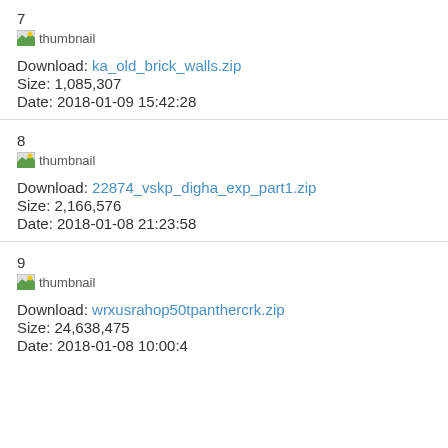7
[Figure (other): thumbnail image placeholder]
Download: ka_old_brick_walls.zip
Size: 1,085,307
Date: 2018-01-09 15:42:28
8
[Figure (other): thumbnail image placeholder]
Download: 22874_vskp_digha_exp_part1.zip
Size: 2,166,576
Date: 2018-01-08 21:23:58
9
[Figure (other): thumbnail image placeholder]
Download: wrxusrahop50tpanthercrk.zip
Size: 24,638,475
Date: 2018-01-08 10:00:40